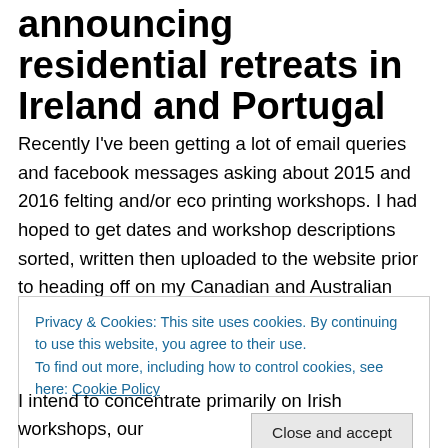announcing residential retreats in Ireland and Portugal
Recently I've been getting a lot of email queries and facebook messages asking about 2015 and 2016 felting and/or eco printing workshops. I had hoped to get dates and workshop descriptions sorted, written then uploaded to the website prior to heading off on my Canadian and Australian adventures, no such luck though as here I am writing from Lethbridge having already spent a wonderful few days in Fernie! Anyway, my big news is that I've
Privacy & Cookies: This site uses cookies. By continuing to use this website, you agree to their use.
To find out more, including how to control cookies, see here: Cookie Policy
[Close and accept]
I intend to concentrate primarily on Irish workshops, our